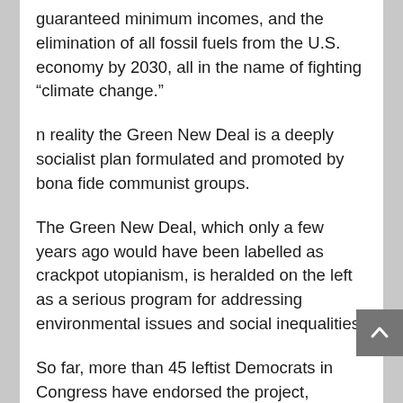guaranteed minimum incomes, and the elimination of all fossil fuels from the U.S. economy by 2030, all in the name of fighting “climate change.”
n reality the Green New Deal is a deeply socialist plan formulated and promoted by bona fide communist groups.
The Green New Deal, which only a few years ago would have been labelled as crackpot utopianism, is heralded on the left as a serious program for addressing environmental issues and social inequalities.
So far, more than 45 leftist Democrats in Congress have endorsed the project, including likely 2020 presidential candidates Sens. Cory Booker (D-N.J.) and Bernie Sanders (I-Vt.) and declared presidential candidates Sens. Kamala Harris (D.-Calif.), Kirsten